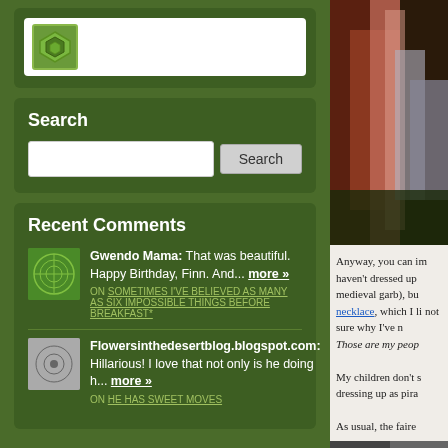[Figure (logo): Green leaf/gem logo in white search bar widget]
Search
Search input field and button
Recent Comments
Gwendo Mama: That was beautiful. Happy Birthday, Finn. And... more »
ON SOMETIMES I'VE BELIEVED AS MANY AS SIX IMPOSSIBLE THINGS BEFORE BREAKFAST*
Flowersinthedesertblog.blogspot.com: Hillarious! I love that not only is he doing h... more »
ON HE HAS SWEET MOVES
[Figure (photo): Photo on right side - colorful close-up image, appears to be fabric or feathers]
Anyway, you can im haven't dressed up medieval garb), bu necklace, which I li not sure why I've n Those are my peop
My children don't s dressing up as pira
As usual, the faire
[Figure (photo): Black and white photo at bottom right]